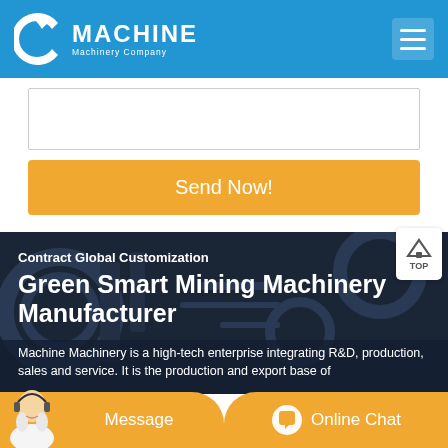MACHINE Machinery Company
[Figure (screenshot): White form area with textarea and Send Now! orange button]
Contract Global Customization
Green Smart Mining Machinery Manufacturer
Machine Machinery is a high-tech enterprise integrating R&D, production, sales and service. It is the production and export base of
Message   Online Chat